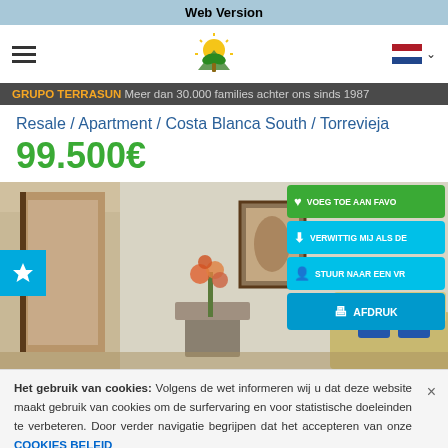Web Version
[Figure (screenshot): Navigation bar with hamburger menu, Terrasun logo (sun/palm), and Dutch flag language selector]
GRUPO TERRASUN Meer dan 30.000 families achter ons sinds 1987
Resale / Apartment / Costa Blanca South / Torrevieja
99.500€
[Figure (photo): Interior of apartment showing living room with white walls, framed painting, flower arrangement, and sofa with blue cushions]
Het gebruik van cookies: Volgens de wet informeren wij u dat deze website maakt gebruik van cookies om de surfervaring en voor statistische doeleinden te verbeteren. Door verder navigatie begrijpen dat het accepteren van onze COOKIES BELEID